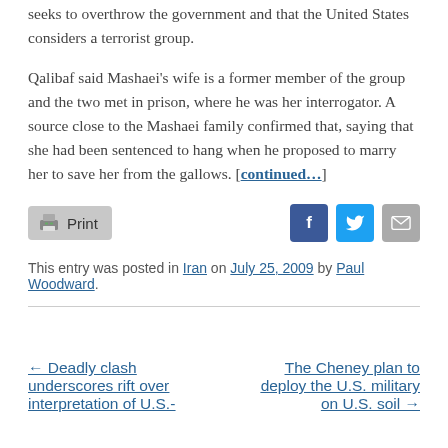seeks to overthrow the government and that the United States considers a terrorist group.
Qalibaf said Mashaei’s wife is a former member of the group and the two met in prison, where he was her interrogator. A source close to the Mashaei family confirmed that, saying that she had been sentenced to hang when he proposed to marry her to save her from the gallows. [continued...]
Print  [share icons: Facebook, Twitter, Email]
This entry was posted in Iran on July 25, 2009 by Paul Woodward.
← Deadly clash underscores rift over interpretation of U.S.-
The Cheney plan to deploy the U.S. military on U.S. soil →